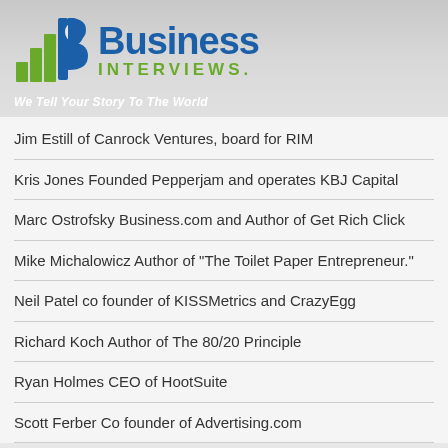[Figure (logo): Business Interviews logo with bar chart and microphone icon, blue and green colors]
We Tell Your Story To The World
Jim Estill of Canrock Ventures, board for RIM
Kris Jones Founded Pepperjam and operates KBJ Capital
Marc Ostrofsky Business.com and Author of Get Rich Click
Mike Michalowicz Author of "The Toilet Paper Entrepreneur."
Neil Patel co founder of KISSMetrics and CrazyEgg
Richard Koch Author of The 80/20 Principle
Ryan Holmes CEO of HootSuite
Scott Ferber Co founder of Advertising.com